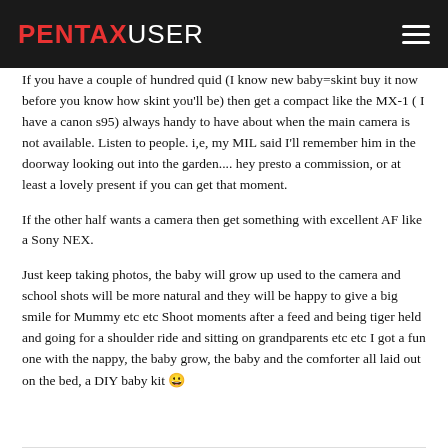PENTAXUSER
If you have a couple of hundred quid (I know new baby=skint buy it now before you know how skint you'll be) then get a compact like the MX-1 ( I have a canon s95) always handy to have about when the main camera is not available. Listen to people. i,e, my MIL said I'll remember him in the doorway looking out into the garden.... hey presto a commission, or at least a lovely present if you can get that moment.
If the other half wants a camera then get something with excellent AF like a Sony NEX.
Just keep taking photos, the baby will grow up used to the camera and school shots will be more natural and they will be happy to give a big smile for Mummy etc etc Shoot moments after a feed and being tiger held and going for a shoulder ride and sitting on grandparents etc etc I got a fun one with the nappy, the baby grow, the baby and the comforter all laid out on the bed, a DIY baby kit 😀